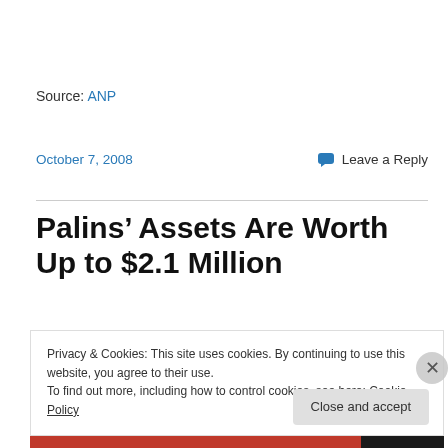Source: ANP
October 7, 2008    Leave a Reply
Palins’ Assets Are Worth Up to $2.1 Million
Privacy & Cookies: This site uses cookies. By continuing to use this website, you agree to their use.
To find out more, including how to control cookies, see here: Cookie Policy
Close and accept